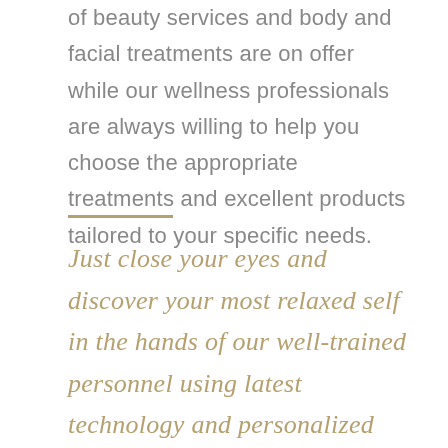of beauty services and body and facial treatments are on offer while our wellness professionals are always willing to help you choose the appropriate treatments and excellent products tailored to your specific needs.
Just close your eyes and discover your most relaxed self in the hands of our well-trained personnel using latest technology and personalized programmes just for you!